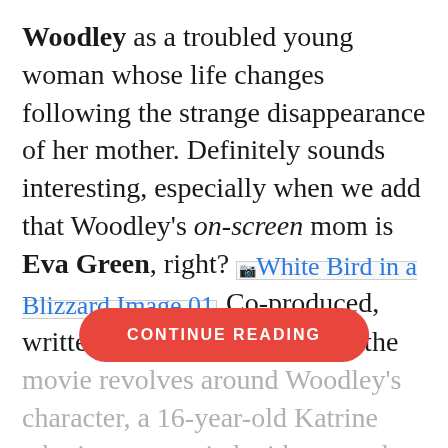Woodley as a troubled young woman whose life changes following the strange disappearance of her mother. Definitely sounds interesting, especially when we add that Woodley's on-screen mom is Eva Green, right? [White Bird in a Blizzard Image 01] Co-produced, written and directed by Araki, the movie revolves around Woodley's character, a 16-year-old Katrine who is preoccupied with sex and dating, and who disappears from ...
CONTINUE READING